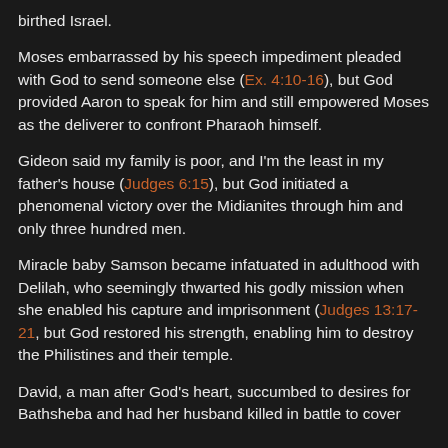birthed Israel.
Moses embarrassed by his speech impediment pleaded with God to send someone else (Ex. 4:10-16), but God provided Aaron to speak for him and still empowered Moses as the deliverer to confront Pharaoh himself.
Gideon said my family is poor, and I'm the least in my father's house (Judges 6:15), but God initiated a phenomenal victory over the Midianites through him and only three hundred men.
Miracle baby Samson became infatuated in adulthood with Delilah, who seemingly thwarted his godly mission when she enabled his capture and imprisonment (Judges 13:17-21, but God restored his strength, enabling him to destroy the Philistines and their temple.
David, a man after God's heart, succumbed to desires for Bathsheba and had her husband killed in battle to cover